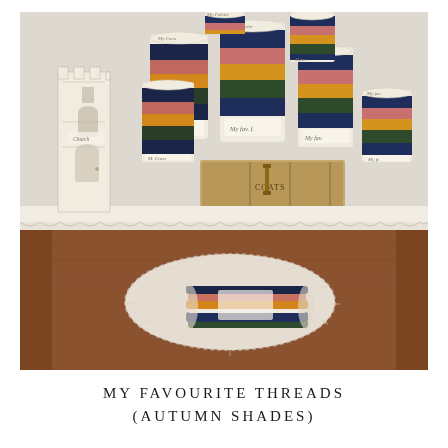[Figure (photo): A photograph of colourful thread spools (in autumn shades of navy, pink, orange/gold, and dark green) arranged on a white shelf with a lace trim. Several cylindrical spools with handwritten labels and a paper castle figure are on the upper shelf in a small wooden box labelled 'COATS'. In the lower wooden box compartment, skeins of the same coloured threads are displayed on a lace doily. The setting has a vintage, handmade aesthetic.]
MY FAVOURITE THREADS (AUTUMN SHADES)